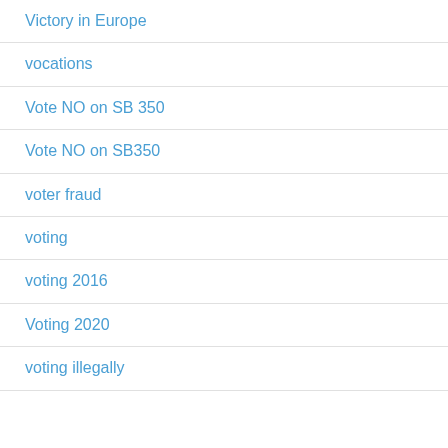Victory in Europe
vocations
Vote NO on SB 350
Vote NO on SB350
voter fraud
voting
voting 2016
Voting 2020
voting illegally